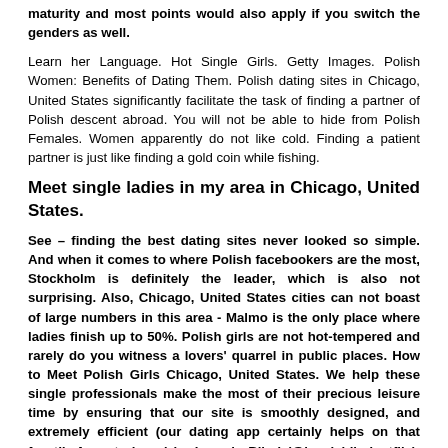maturity and most points would also apply if you switch the genders as well.
Learn her Language. Hot Single Girls. Getty Images. Polish Women: Benefits of Dating Them. Polish dating sites in Chicago, United States significantly facilitate the task of finding a partner of Polish descent abroad. You will not be able to hide from Polish Females. Women apparently do not like cold. Finding a patient partner is just like finding a gold coin while fishing.
Meet single ladies in my area in Chicago, United States.
See – finding the best dating sites never looked so simple. And when it comes to where Polish facebookers are the most, Stockholm is definitely the leader, which is also not surprising. Also, Chicago, United States cities can not boast of large numbers in this area - Malmo is the only place where ladies finish up to 50%. Polish girls are not hot-tempered and rarely do you witness a lovers' quarrel in public places. How to Meet Polish Girls Chicago, United States. We help these single professionals make the most of their precious leisure time by ensuring that our site is smoothly designed, and extremely efficient (our dating app certainly helps on that front!). A post shared by Love is Blind (@loveisblindnetflix). Com is by far the best of them in Chicago, United States. Women wanting dates. Local